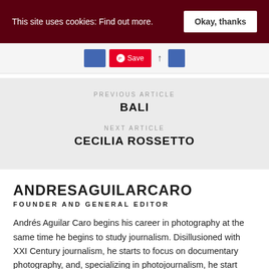This site uses cookies: Find out more.
Okay, thanks
[Figure (screenshot): Share/save button bar with Facebook share button, Pinterest Save button, and other share icon buttons]
PREVIOUS ARTICLE
BALI
NEXT ARTICLE
CECILIA ROSSETTO
ANDRESAGUILARCARO
FOUNDER AND GENERAL EDITOR
Andrés Aguilar Caro begins his career in photography at the same time he begins to study journalism. Disillusioned with XXI Century journalism, he starts to focus on documentary photography, and, specializing in photojournalism, he start